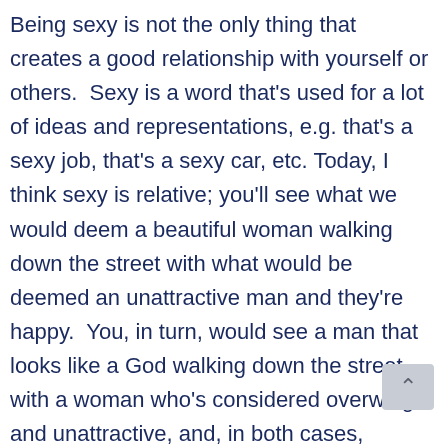Being sexy is not the only thing that creates a good relationship with yourself or others. Sexy is a word that's used for a lot of ideas and representations, e.g. that's a sexy job, that's a sexy car, etc. Today, I think sexy is relative; you'll see what we would deem a beautiful woman walking down the street with what would be deemed an unattractive man and they're happy. You, in turn, would see a man that looks like a God walking down the street with a woman who's considered overweight and unattractive, and, in both cases, people would ask what's up with that. Beauty and sexiness are in the eye of the beholder. Sexy is someone who gets you because you get yourself. Sexy is a reflection of your confide someone you can hold a wonderful conversa and communicate with well.